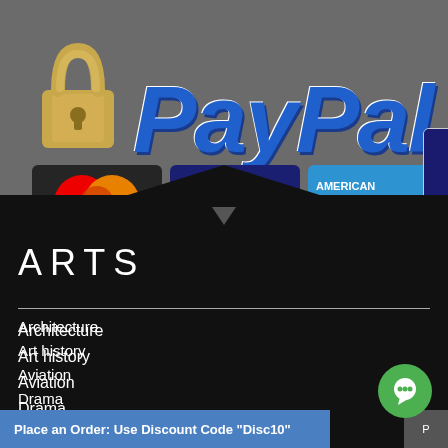[Figure (logo): PayPal logo with padlock icon and payment method logos: MasterCard, VISA, American Express, Discover]
ARTS
Architecture
Art history
Aviation
Drama
Classic English literature
Culture
Film studie...
Place an Order: Use Discount Code "Disc10"